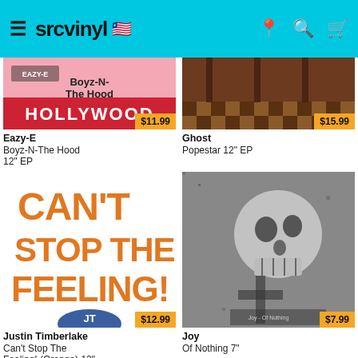srcvinyl
[Figure (photo): Eazy-E Boyz-N-The Hood album art, partially cropped, pink background with Hollywood sign, price tag $11.99]
Eazy-E
Boyz-N-The Hood
12" EP
[Figure (photo): Ghost Popestar 12" EP album art, brown interior room with checkerboard floor, price tag $15.99]
Ghost
Popestar 12" EP
[Figure (photo): Justin Timberlake Can't Stop The Feeling orange text on white background with troll character, price tag $12.99]
Justin Timberlake
Can't Stop The Feeling! (Orange) 12" EP
[Figure (photo): Joy Of Nothing 7" album art, black and white skull illustration, price tag $7.99]
Joy
Of Nothing 7"
[Figure (photo): Bottom left album art, partially visible, dark]
[Figure (photo): Bottom right album art, The Dillinger, partially visible]